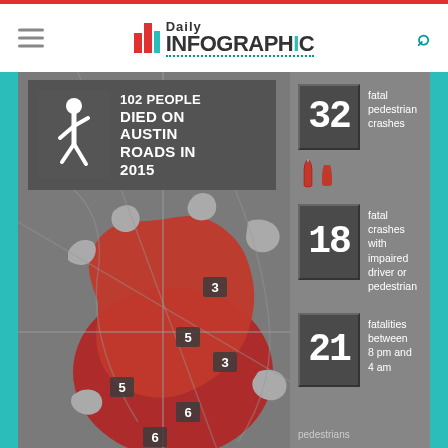Daily Infographic
[Figure (infographic): Infographic about Austin road fatalities in 2015. Shows a map of Austin with crash locations marked, a pedestrian icon with text '102 PEOPLE DIED ON AUSTIN ROADS IN 2015', and three statistics: 32 fatal pedestrian crashes, 18 fatal crashes with impaired driver or pedestrian, 21 fatalities between 8 pm and 4 am. The map shows numbered zones (3, 5, 3, 5, 6, 6) indicating crash counts.]